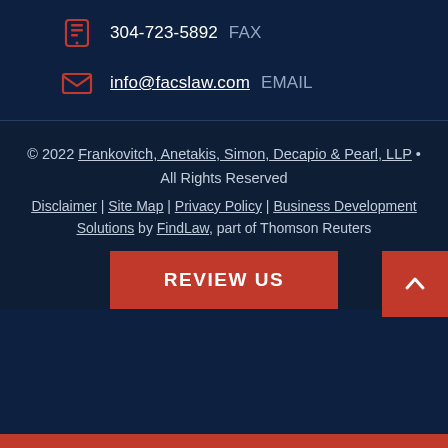304-723-5892 FAX
info@facslaw.com EMAIL
© 2022 Frankovitch, Anetakis, Simon, Decapio & Pearl, LLP • All Rights Reserved
Disclaimer | Site Map | Privacy Policy | Business Development Solutions by FindLaw, part of Thomson Reuters
REVIEW US